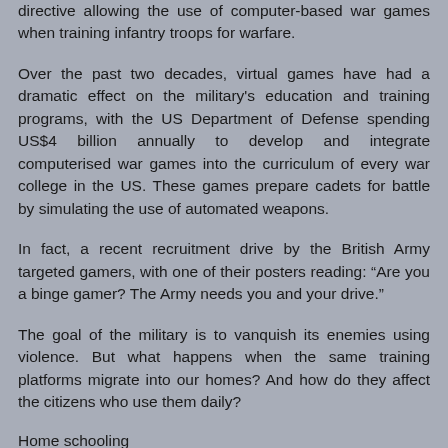directive allowing the use of computer-based war games when training infantry troops for warfare.
Over the past two decades, virtual games have had a dramatic effect on the military's education and training programs, with the US Department of Defense spending US$4 billion annually to develop and integrate computerised war games into the curriculum of every war college in the US. These games prepare cadets for battle by simulating the use of automated weapons.
In fact, a recent recruitment drive by the British Army targeted gamers, with one of their posters reading: “Are you a binge gamer? The Army needs you and your drive.”
The goal of the military is to vanquish its enemies using violence. But what happens when the same training platforms migrate into our homes? And how do they affect the citizens who use them daily?
Home schooling
First-person shooter games have become permanent